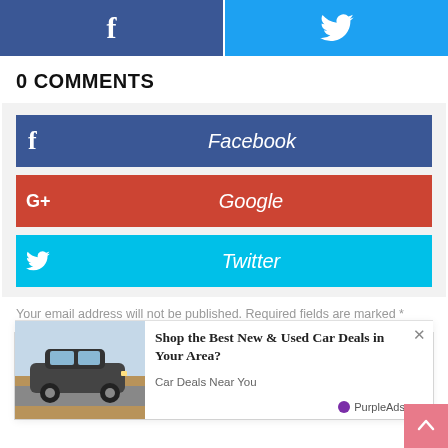[Figure (screenshot): Two social share buttons at the top: Facebook (dark blue with f icon) and Twitter (light blue with bird icon)]
0 COMMENTS
[Figure (screenshot): Login comment box with Facebook (blue), Google (red), and Twitter (cyan) login buttons]
Your email address will not be published. Required fields are marked *
Name *
[Figure (infographic): Advertisement overlay: car image with text 'Shop the Best New & Used Car Deals in Your Area?' and 'Car Deals Near You' by PurpleAds]